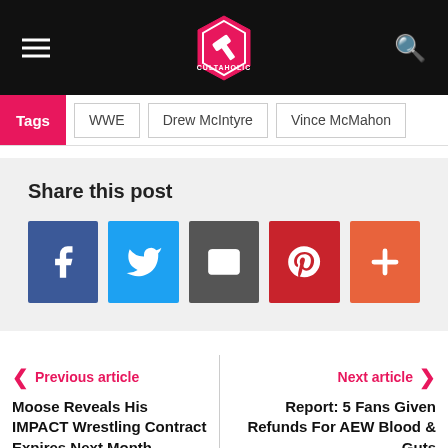Cultaholic
Tags  WWE  Drew McIntyre  Vince McMahon
Share this post
Facebook, Twitter, Email, Pinterest, More share buttons
Previous article
Moose Reveals His IMPACT Wrestling Contract Expires Next Month
Next article
Report: 5 Fans Given Refunds For AEW Blood & Guts